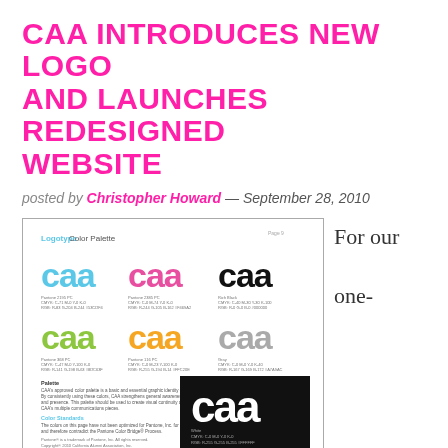CAA INTRODUCES NEW LOGO AND LAUNCHES REDESIGNED WEBSITE
posted by Christopher Howard — September 28, 2010
[Figure (illustration): CAA logotype color palette guide showing six CAA logos in different colors: blue, pink/magenta, black, green, yellow/orange, and gray, plus a white-on-black version. Includes palette notes and color standards text.]
For our one-
hundredth birthday, CAA got a face-lift. And don't we look great? You've probably seen our new look trickle